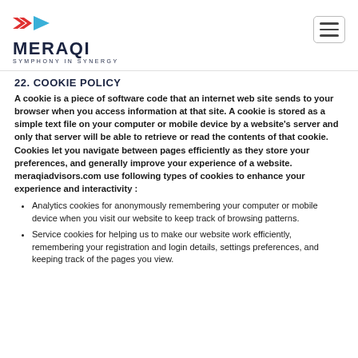[Figure (logo): Meraqi logo with red and blue arrow shapes, company name MERAQI in dark navy bold, tagline SYMPHONY IN SYNERGY below]
22. COOKIE POLICY
A cookie is a piece of software code that an internet web site sends to your browser when you access information at that site. A cookie is stored as a simple text file on your computer or mobile device by a website's server and only that server will be able to retrieve or read the contents of that cookie. Cookies let you navigate between pages efficiently as they store your preferences, and generally improve your experience of a website. meraqiadvisors.com use following types of cookies to enhance your experience and interactivity :
Analytics cookies for anonymously remembering your computer or mobile device when you visit our website to keep track of browsing patterns.
Service cookies for helping us to make our website work efficiently, remembering your registration and login details, settings preferences, and keeping track of the pages you view.